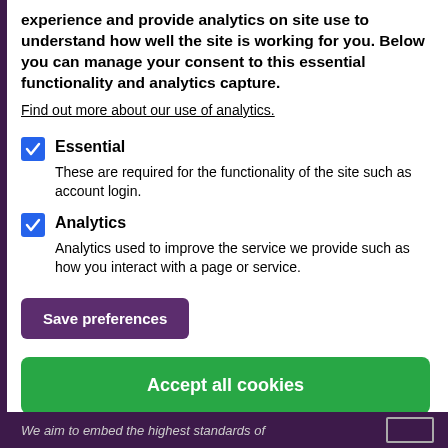experience and provide analytics on site use to understand how well the site is working for you. Below you can manage your consent to this essential functionality and analytics capture.
Find out more about our use of analytics.
Essential — These are required for the functionality of the site such as account login.
Analytics — Analytics used to improve the service we provide such as how you interact with a page or service.
Save preferences
Accept all cookies
We aim to embed the highest standards of